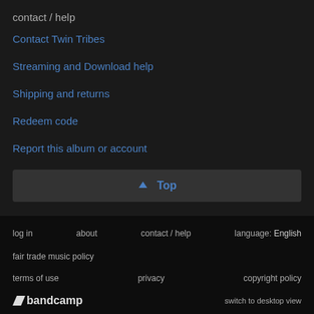contact / help
Contact Twin Tribes
Streaming and Download help
Shipping and returns
Redeem code
Report this album or account
↑ Top
log in   about   contact / help   language: English
fair trade music policy
terms of use   privacy   copyright policy
bandcamp   switch to desktop view